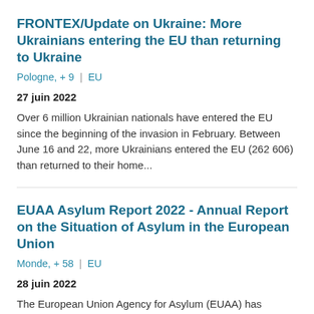FRONTEX/Update on Ukraine: More Ukrainians entering the EU than returning to Ukraine
Pologne, + 9  |  EU
27 juin 2022
Over 6 million Ukrainian nationals have entered the EU since the beginning of the invasion in February. Between June 16 and 22, more Ukrainians entered the EU (262 606) than returned to their home...
EUAA Asylum Report 2022 - Annual Report on the Situation of Asylum in the European Union
Monde, + 58  |  EU
28 juin 2022
The European Union Agency for Asylum (EUAA) has published its annual report on the state of asylum in Europe. The report examines how events in 2021 and